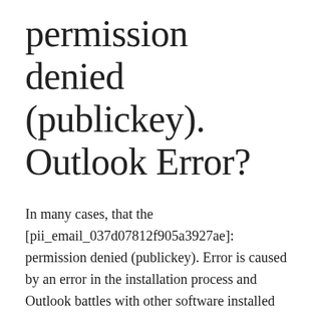permission denied (publickey). Outlook Error?
In many cases, that the [pii_email_037d07812f905a3927ae]: permission denied (publickey). Error is caused by an error in the installation process and Outlook battles with other software installed on your PC. In addition, in some instances, there may be a chance that multiple accounts are used on the device.
Fixing